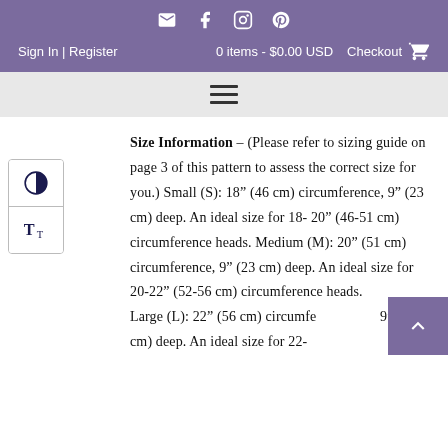Sign In | Register   0 items - $0.00 USD   Checkout
[Figure (other): Hamburger menu icon (three horizontal lines)]
Size Information – (Please refer to sizing guide on page 3 of this pattern to assess the correct size for you.) Small (S): 18" (46 cm) circumference, 9" (23 cm) deep. An ideal size for 18-20" (46-51 cm) circumference heads. Medium (M): 20" (51 cm) circumference, 9" (23 cm) deep. An ideal size for 20-22" (52-56 cm) circumference heads. Large (L): 22" (56 cm) circumference, 9" (23 cm) deep. An ideal size for 22-